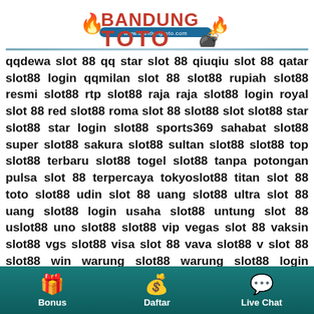[Figure (logo): BandungToto logo with flame icons and website URL www.bandungtoto.com]
qqdewa slot 88 qq star slot 88 qiuqiu slot 88 qatar slot88 login qqmilan slot 88 slot88 rupiah slot88 resmi slot88 rtp slot88 raja raja slot88 login royal slot 88 red slot88 roma slot 88 slot88 slot slot88 star slot88 star login slot88 sports369 sahabat slot88 super slot88 sakura slot88 sultan slot88 slot88 top slot88 terbaru slot88 togel slot88 tanpa potongan pulsa slot 88 terpercaya tokyoslot88 titan slot 88 toto slot88 udin slot 88 uang slot88 ultra slot 88 uang slot88 login usaha slot88 untung slot 88 uslot88 uno slot88 slot88 vip vegas slot 88 vaksin slot88 vgs slot88 visa slot 88 vava slot88 v slot 88 slot88 win warung slot88 warung slot88 login wahana slot 88 warung slot88 pro wslot88 wayang slot 88 warung slot88.org link alternatif xyz slot 88 xlslot88 xl slot 88 ku xl slot 88 login xl slot88 biz xslot88 slotxo 88 kripto slot88. xyz yuhu slot88 yoyo slot88 yes slot88 yuk slot88 you slot 88 ...
Bonus   Daftar   Live Chat